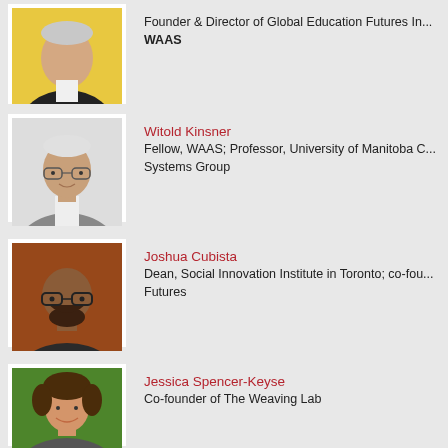[Figure (photo): Partial view of a person (older male, light hair) on yellow background — cropped at top]
Founder & Director of Global Education Futures In...
WAAS
[Figure (photo): Photo of Witold Kinsner — older male with glasses, white hair, grey jacket]
Witold Kinsner
Fellow, WAAS; Professor, University of Manitoba C... Systems Group
[Figure (photo): Photo of Joshua Cubista — bald male with glasses and beard]
Joshua Cubista
Dean, Social Innovation Institute in Toronto; co-fou... Futures
[Figure (photo): Photo of Jessica Spencer-Keyse — young woman with curly hair, smiling]
Jessica Spencer-Keyse
Co-founder of The Weaving Lab